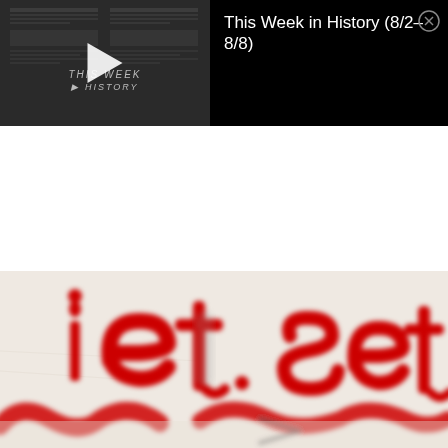[Figure (screenshot): Video thumbnail showing 'THIS WEEK IN HISTORY' text with a play button on a dark newspaper background]
This Week in History (8/2–8/8)
[Figure (photo): Blurred close-up photo of red graffiti letters reading 'iet set' on a light background]